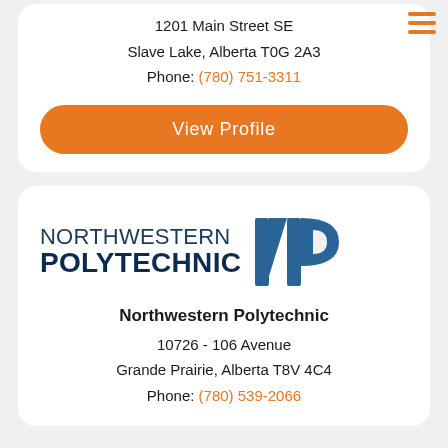1201 Main Street SE
Slave Lake, Alberta T0G 2A3
Phone: (780) 751-3311
View Profile
[Figure (logo): Northwestern Polytechnic logo with text and NP symbol in dark blue]
Northwestern Polytechnic
10726 - 106 Avenue
Grande Prairie, Alberta T8V 4C4
Phone: (780) 539-2066